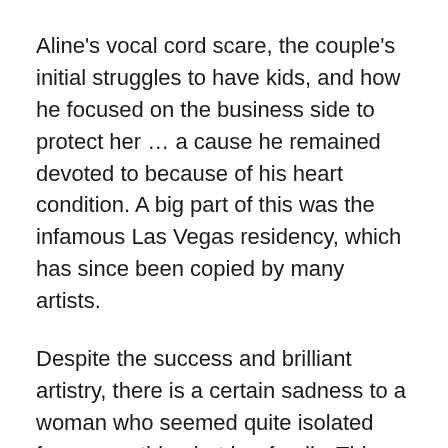Aline's vocal cord scare, the couple's initial struggles to have kids, and how he focused on the business side to protect her … a cause he remained devoted to because of his heart condition. A big part of this was the infamous Las Vegas residency, which has since been copied by many artists.
Despite the success and brilliant artistry, there is a certain sadness to a woman who seemed quite isolated from everything but her family. This point is driven home when she admits to never have seen the city where she's been performing, and the fact that she seems to have no friends outside of her makeup artist Fred (Jean-Noel Broute). Ms. Lemercier does a fine job capturing the various looks and style over the years, and her movements on stage are spot on. She lip-syncs to the familiar songs … sung not by